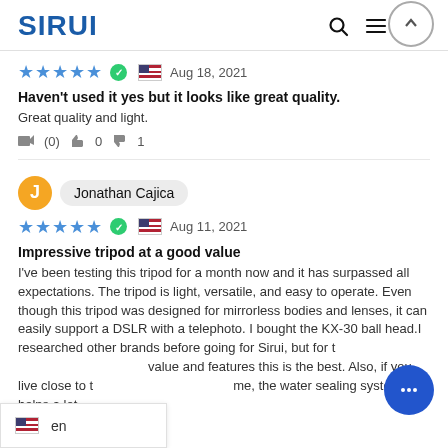SIRUI
★★★★★  ✓  🇺🇸  Aug 18, 2021
Haven't used it yes but it looks like great quality.
Great quality and light.
(0)  👍 0  👎 1
Jonathan Cajica
★★★★★  ✓  🇺🇸  Aug 11, 2021
Impressive tripod at a good value
I've been testing this tripod for a month now and it has surpassed all expectations. The tripod is light, versatile, and easy to operate. Even though this tripod was designed for mirrorless bodies and lenses, it can easily support a DSLR with a telephoto. I bought the KX-30 ball head.I researched other brands before going for Sirui, but for the value and features this is the best. Also, if you live close to the me, the water sealing system helps a lot.
en